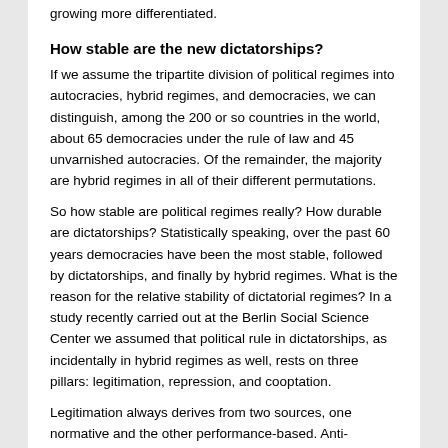growing more differentiated.
How stable are the new dictatorships?
If we assume the tripartite division of political regimes into autocracies, hybrid regimes, and democracies, we can distinguish, among the 200 or so countries in the world, about 65 democracies under the rule of law and 45 unvarnished autocracies. Of the remainder, the majority are hybrid regimes in all of their different permutations.
So how stable are political regimes really? How durable are dictatorships? Statistically speaking, over the past 60 years democracies have been the most stable, followed by dictatorships, and finally by hybrid regimes. What is the reason for the relative stability of dictatorial regimes? In a study recently carried out at the Berlin Social Science Center we assumed that political rule in dictatorships, as incidentally in hybrid regimes as well, rests on three pillars: legitimation, repression, and cooptation.
Legitimation always derives from two sources, one normative and the other performance-based. Anti-